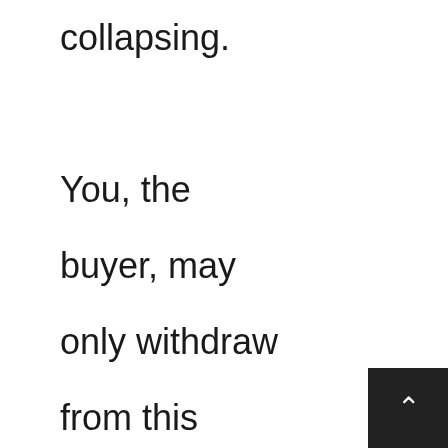collapsing. You, the buyer, may only withdraw from this contract if the bank will not provide finance or your building/timber pest report reveals a major